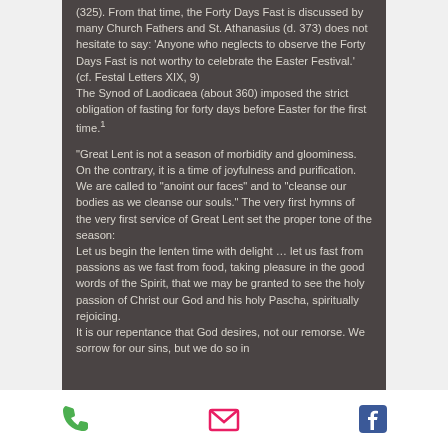(325). From that time, the Forty Days Fast is discussed by many Church Fathers and St. Athanasius (d. 373) does not hesitate to say: 'Anyone who neglects to observe the Forty Days Fast is not worthy to celebrate the Easter Festival.' (cf. Festal Letters XIX, 9) The Synod of Laodicaea (about 360) imposed the strict obligation of fasting for forty days before Easter for the first time.1
"Great Lent is not a season of morbidity and gloominess. On the contrary, it is a time of joyfulness and purification. We are called to 'anoint our faces' and to 'cleanse our bodies as we cleanse our souls.' The very first hymns of the very first service of Great Lent set the proper tone of the season:
Let us begin the lenten time with delight... let us fast from passions as we fast from food, taking pleasure in the good words of the Spirit, that we may be granted to see the holy passion of Christ our God and his holy Pascha, spiritually rejoicing.
It is our repentance that God desires, not our remorse. We sorrow for our sins, but we do so in
[Figure (infographic): Footer bar with phone icon (green), email envelope icon (pink/red), and Facebook icon (blue)]